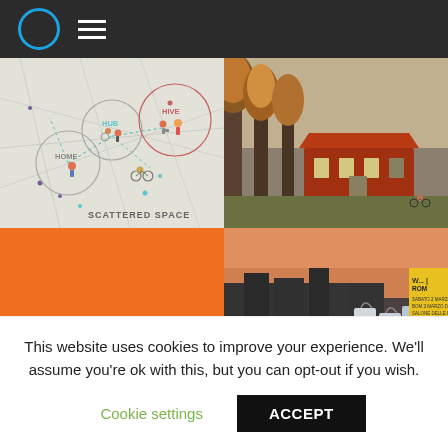Navigation header with logo circle and hamburger menu
[Figure (infographic): Map-style infographic showing circles labeled HOME, HUB, and HIVE connected by dotted lines with illustrated pedestrians and cyclists. Title: SCATTERED SPACE]
[Figure (photo): Architectural rendering of a modern red building with trees in autumn, cyclists in foreground]
[Figure (photo): Orange/yellow color block with partial view of urban buildings at bottom]
[Figure (photo): Close-up of event materials/bags with a yellow poster showing ROM text and Italian event details]
This website uses cookies to improve your experience. We'll assume you're ok with this, but you can opt-out if you wish.
Cookie settings
ACCEPT